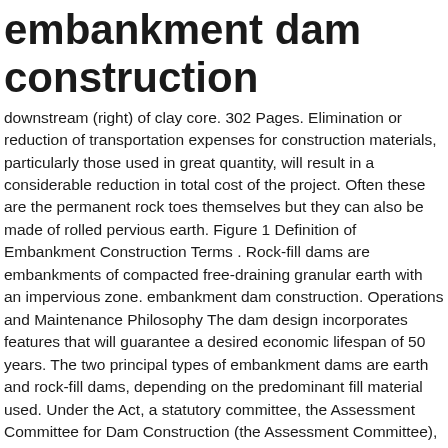embankment dam construction
downstream (right) of clay core. 302 Pages. Elimination or reduction of transportation expenses for construction materials, particularly those used in great quantity, will result in a considerable reduction in total cost of the project. Often these are the permanent rock toes themselves but they can also be made of rolled pervious earth. Figure 1 Definition of Embankment Construction Terms . Rock-fill dams are embankments of compacted free-draining granular earth with an impervious zone. embankment dam construction. Operations and Maintenance Philosophy The dam design incorporates features that will guarantee a desired economic lifespan of 50 years. The two principal types of embankment dams are earth and rock-fill dams, depending on the predominant fill material used. Under the Act, a statutory committee, the Assessment Committee for Dam Construction (the Assessment Committee), was established as the body responsible for assessing applications for the construction of dams. From simple water supply works, irrigation works to huge hydropower generation plants and disaster control works; all require the construction of the dam. Some generalized sections of earth dams showing typical zoning for different